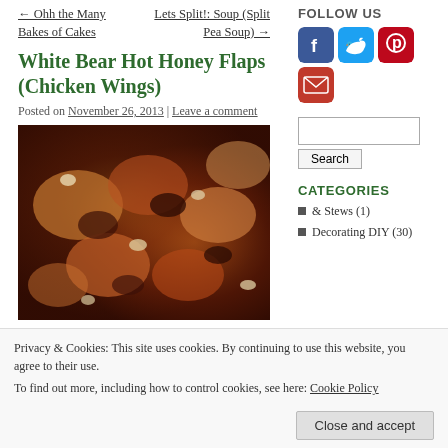← Ohh the Many Bakes of Cakes   Lets Split!: Soup (Split Pea Soup) →
White Bear Hot Honey Flaps (Chicken Wings)
Posted on November 26, 2013 | Leave a comment
[Figure (photo): Close-up photo of hot honey chicken wings with caramelized glaze]
FOLLOW US
[Figure (infographic): Social media icons: Facebook, Twitter, Pinterest, Email]
Search button and input field
CATEGORIES
& Stews (1)
Decorating DIY (30)
Privacy & Cookies: This site uses cookies. By continuing to use this website, you agree to their use.
To find out more, including how to control cookies, see here: Cookie Policy
Close and accept